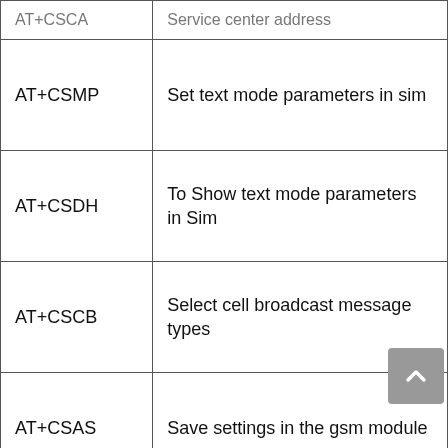| Command | Description |
| --- | --- |
| AT+CSMP | Set text mode parameters in sim |
| AT+CSDH | To Show text mode parameters in Sim |
| AT+CSCB | Select cell broadcast message types |
| AT+CSAS | Save settings in the gsm module |
| AT+CRES | Restore all settings |
| AT+CNMI | Message indications to TE |
|  | To make the list of |